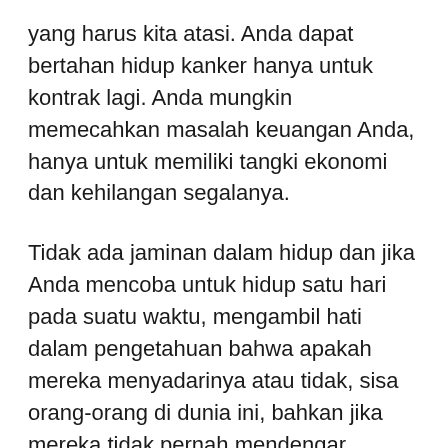yang harus kita atasi. Anda dapat bertahan hidup kanker hanya untuk kontrak lagi. Anda mungkin memecahkan masalah keuangan Anda, hanya untuk memiliki tangki ekonomi dan kehilangan segalanya.
Tidak ada jaminan dalam hidup dan jika Anda mencoba untuk hidup satu hari pada suatu waktu, mengambil hati dalam pengetahuan bahwa apakah mereka menyadarinya atau tidak, sisa orang-orang di dunia ini, bahkan jika mereka tidak pernah mendengar kalimat itu atau duduk melalui pertemuan 12 langkah, melakukan hal yang persis sama. Meskipun kita semua ingin jaminan bahwa sekali kita menghadapi masalah dan menyelesaikannya selama sehari, itu tidak akan pernah kembali, hidup tidak bekerja seperti itu, kita